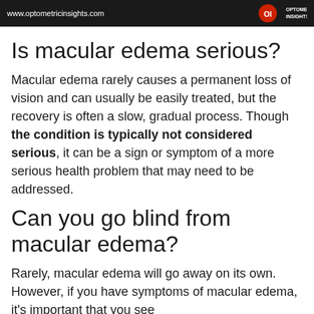www.optometricinsights.com
Is macular edema serious?
Macular edema rarely causes a permanent loss of vision and can usually be easily treated, but the recovery is often a slow, gradual process. Though the condition is typically not considered serious, it can be a sign or symptom of a more serious health problem that may need to be addressed.
Can you go blind from macular edema?
Rarely, macular edema will go away on its own. However, if you have symptoms of macular edema, it's important that you see